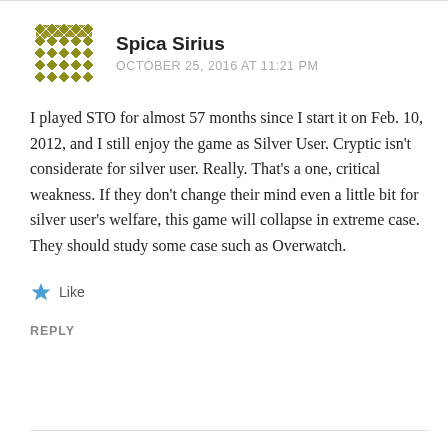[Figure (logo): Olive/gold geometric diamond-pattern avatar icon for user Spica Sirius]
Spica Sirius
OCTOBER 25, 2016 AT 11:21 PM
I played STO for almost 57 months since I start it on Feb. 10, 2012, and I still enjoy the game as Silver User. Cryptic isn't considerate for silver user. Really. That's a one, critical weakness. If they don't change their mind even a little bit for silver user's welfare, this game will collapse in extreme case. They should study some case such as Overwatch.
Like
REPLY